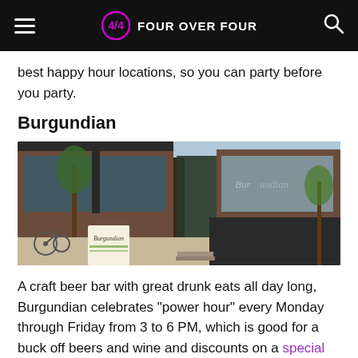FOUR OVER FOUR
best happy hour locations, so you can party before you party.
Burgundian
[Figure (photo): Exterior photo of Burgundian craft beer bar, showing a brick building with large dark-framed windows, an open entrance door, and a sandwich board sign reading 'Burgundian' in front. Trees and a parked bicycle are visible.]
A craft beer bar with great drunk eats all day long, Burgundian celebrates “power hour” every Monday through Friday from 3 to 6 PM, which is good for a buck off beers and wine and discounts on a special food menu